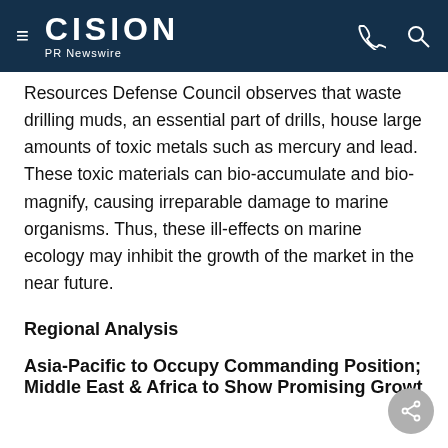CISION PR Newswire
Resources Defense Council observes that waste drilling muds, an essential part of drills, house large amounts of toxic metals such as mercury and lead. These toxic materials can bio-accumulate and bio-magnify, causing irreparable damage to marine organisms. Thus, these ill-effects on marine ecology may inhibit the growth of the market in the near future.
Regional Analysis
Asia-Pacific to Occupy Commanding Position; Middle East & Africa to Show Promising Growth